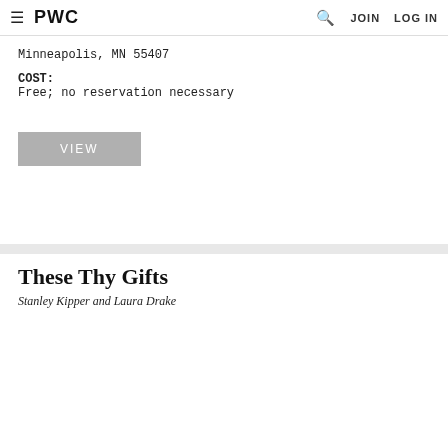≡  PWC    🔍  JOIN  LOG IN
Minneapolis, MN 55407
COST:
Free; no reservation necessary
VIEW
These Thy Gifts
Stanley Kipper and Laura Drake
[Figure (photo): Two portrait photos side by side: on the left, a Black person wearing a hat and glasses with earrings; on the right, a white woman with short blonde hair.]